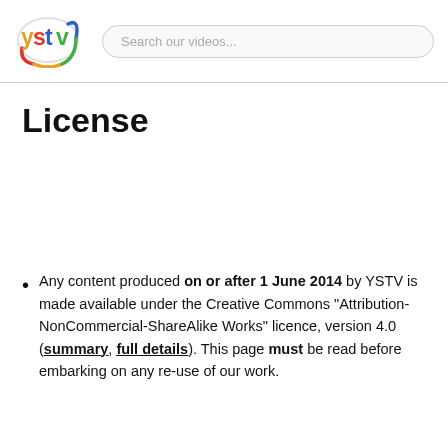ystv | Search our videos...
License
Any content produced on or after 1 June 2014 by YSTV is made available under the Creative Commons "Attribution-NonCommercial-ShareAlike Works" licence, version 4.0 (summary, full details). This page must be read before embarking on any re-use of our work.